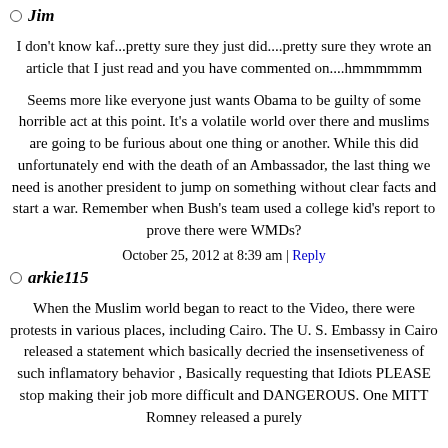Jim
I don't know kaf...pretty sure they just did....pretty sure they wrote an article that I just read and you have commented on....hmmmmmm
Seems more like everyone just wants Obama to be guilty of some horrible act at this point. It's a volatile world over there and muslims are going to be furious about one thing or another. While this did unfortunately end with the death of an Ambassador, the last thing we need is another president to jump on something without clear facts and start a war. Remember when Bush's team used a college kid's report to prove there were WMDs?
October 25, 2012 at 8:39 am | Reply
arkie115
When the Muslim world began to react to the Video, there were protests in various places, including Cairo. The U. S. Embassy in Cairo released a statement which basically decried the insensetiveness of such inflamatory behavior , Basically requesting that Idiots PLEASE stop making their job more difficult and DANGEROUS. One MITT Romney released a purely